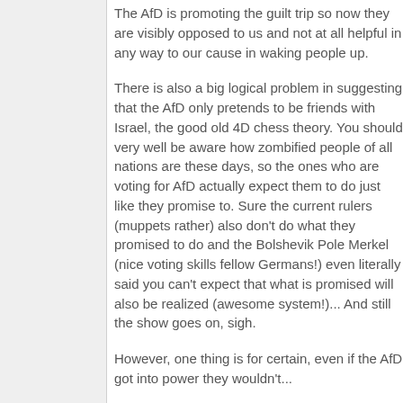The AfD is promoting the guilt trip so now they are visibly opposed to us and not at all helpful in any way to our cause in waking people up.
There is also a big logical problem in suggesting that the AfD only pretends to be friends with Israel, the good old 4D chess theory. You should very well be aware how zombified people of all nations are these days, so the ones who are voting for AfD actually expect them to do just like they promise to. Sure the current rulers (muppets rather) also don't do what they promised to do and the Bolshevik Pole Merkel (nice voting skills fellow Germans!) even literally said you can't expect that what is promised will also be realized (awesome system!)... And still the show goes on, sigh.
However, one thing is for certain, even if the AfD got into power they wouldn't...